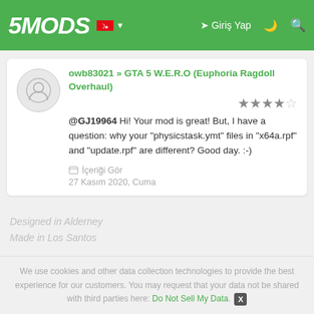5MODS | Giriş Yap
owb83021 » GTA 5 W.E.R.O (Euphoria Ragdoll Overhaul) — @GJ19964 Hi! Your mod is great! But, I have a question: why your "physicstask.ymt" files in "x64a.rpf" and "update.rpf" are different? Good day. :-) — İçeriği Gör — 27 Kasım 2020, Cuma
Designed in Alderney
Made in Los Santos
We use cookies and other data collection technologies to provide the best experience for our customers. You may request that your data not be shared with third parties here: Do Not Sell My Data.